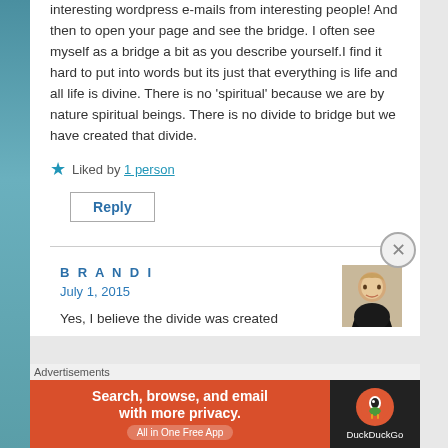interesting wordpress e-mails from interesting people! And then to open your page and see the bridge. I often see myself as a bridge a bit as you describe yourself.I find it hard to put into words but its just that everything is life and all life is divine. There is no 'spiritual' because we are by nature spiritual beings. There is no divide to bridge but we have created that divide.
Liked by 1 person
Reply
BRANDI
July 1, 2015
Yes, I believe the divide was created
[Figure (photo): Avatar photo of Brandi, a woman with blonde hair]
Advertisements
[Figure (screenshot): DuckDuckGo advertisement banner: Search, browse, and email with more privacy. All in One Free App]